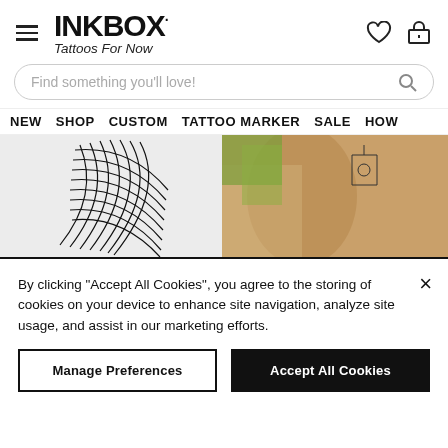[Figure (logo): Inkbox logo with 'Tattoos For Now' tagline in script]
[Figure (screenshot): Search bar with placeholder 'Find something you'll love!']
NEW  SHOP  CUSTOM  TATTOO MARKER  SALE  HOW
[Figure (photo): Two side-by-side photos: left shows abstract black line tattoo design on light background; right shows tattoo on skin with floral elements]
By clicking “Accept All Cookies”, you agree to the storing of cookies on your device to enhance site navigation, analyze site usage, and assist in our marketing efforts.
Manage Preferences
Accept All Cookies